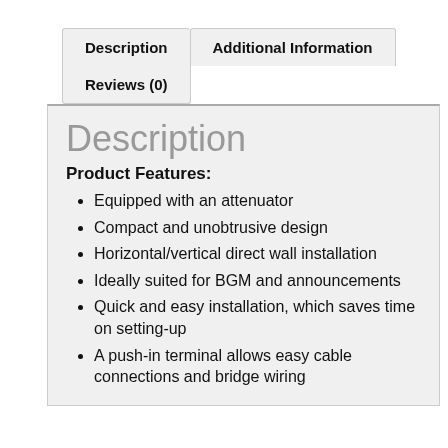Description
Additional Information
Reviews (0)
Description
Product Features:
Equipped with an attenuator
Compact and unobtrusive design
Horizontal/vertical direct wall installation
Ideally suited for BGM and announcements
Quick and easy installation, which saves time on setting-up
A push-in terminal allows easy cable connections and bridge wiring